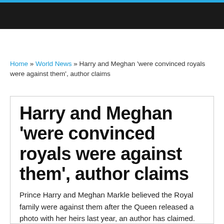Home » World News » Harry and Meghan ‘were convinced royals were against them’, author claims
Harry and Meghan ‘were convinced royals were against them’, author claims
Prince Harry and Meghan Markle believed the Royal family were against them after the Queen released a photo with her heirs last year, an author has claimed.